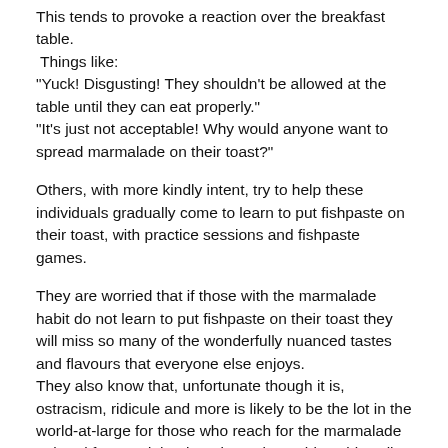This tends to provoke a reaction over the breakfast table. Things like:
"Yuck! Disgusting! They shouldn't be allowed at the table until they can eat properly."
"It's just not acceptable! Why would anyone want to spread marmalade on their toast?"
Others, with more kindly intent, try to help these individuals gradually come to learn to put fishpaste on their toast, with practice sessions and fishpaste games.
They are worried that if those with the marmalade habit do not learn to put fishpaste on their toast they will miss so many of the wonderfully nuanced tastes and flavours that everyone else enjoys.
They also know that, unfortunate though it is, ostracism, ridicule and more is likely to be the lot in the world-at-large for those who reach for the marmalade at breakfast, and that learning to keep this quirk well-hidden is the route to social progress.
Surely once they have got used to it, they will prefer fishpaste